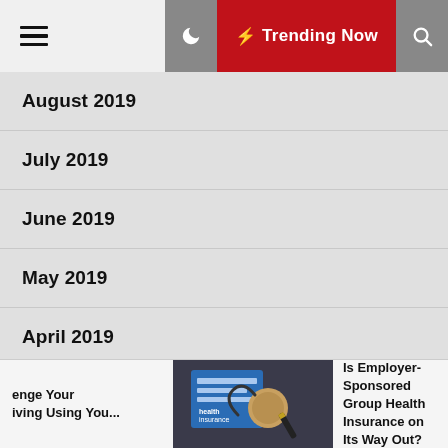Trending Now
August 2019
July 2019
June 2019
May 2019
April 2019
March 2019
February 2019
[Figure (screenshot): Health insurance document with stethoscope and pen]
enge Your iving Using You...
Is Employer-Sponsored Group Health Insurance on Its Way Out?